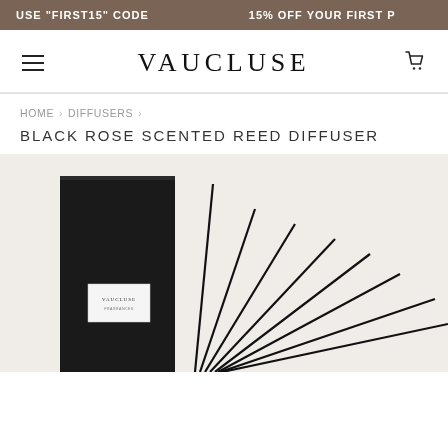USE "FIRST15" CODE   15% OFF YOUR FIRST P
VAUCLUSE
HOME › DIFFUSERS ›
BLACK ROSE SCENTED REED DIFFUSER
[Figure (photo): Product photo of a black Vaucluse reed diffuser box with multiple black reed sticks fanning out to the right, on a light beige/cream background.]